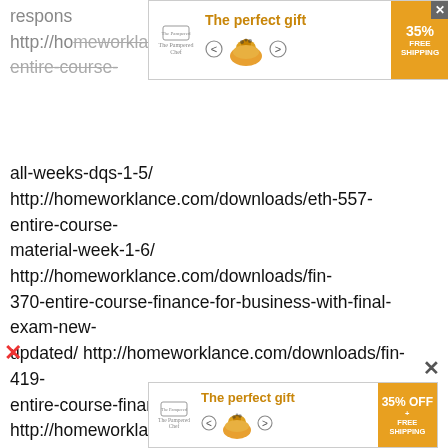respons
http://homeworklance.com/downloads/eth-370-entire-course-all-weeks-dqs-1-5/ http://homeworklance.com/downloads/eth-557-entire-course-material-week-1-6/ http://homeworklance.com/downloads/fin-370-entire-course-finance-for-business-with-final-exam-new-updated/ http://homeworklance.com/downloads/fin-419-entire-course-finance-for-decision-making/ http://homeworklance.com/downloads/fin-467-entire-course-real-estate-investment-complete-course/ http://homeworklance.com/downloads/hca-240-complete-course-material-assignments/ http://homeworklance.com/downloads/hcs-335-entire-course-amaterial/ http://homeworklance.com/downloads/hcs-557-
[Figure (other): Advertisement banner: The perfect gift - 35% FREE SHIPPING with navigation arrows and food image (top)]
[Figure (other): Advertisement banner: The perfect gift - 35% OFF + FREE SHIPPING with navigation arrows and food image (bottom)]